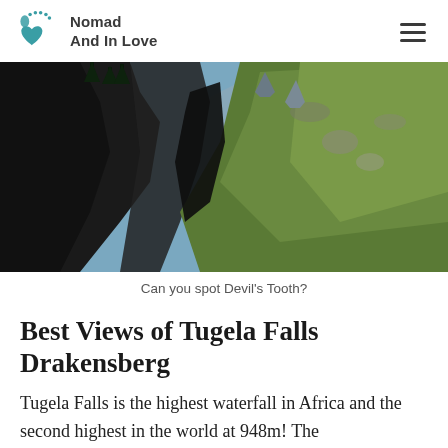Nomad And In Love
[Figure (photo): Mountain landscape showing deep rocky canyon with dark cliffs on the left, green grassy slope on the right, and mountain peaks visible in the background under a blue sky — Drakensberg mountain range]
Can you spot Devil's Tooth?
Best Views of Tugela Falls Drakensberg
Tugela Falls is the highest waterfall in Africa and the second highest in the world at 948m! The